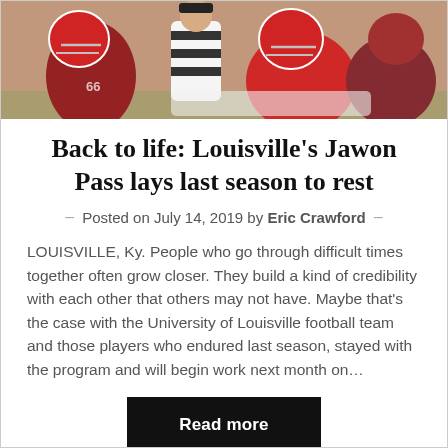[Figure (photo): Football players in red uniforms and a referee in striped shirt during a game, close-up action shot]
Back to life: Louisville’s Jawon Pass lays last season to rest
–   Posted on July 14, 2019 by Eric Crawford   –
LOUISVILLE, Ky. People who go through difficult times together often grow closer. They build a kind of credibility with each other that others may not have. Maybe that’s the case with the University of Louisville football team and those players who endured last season, stayed with the program and will begin work next month on…
Read more